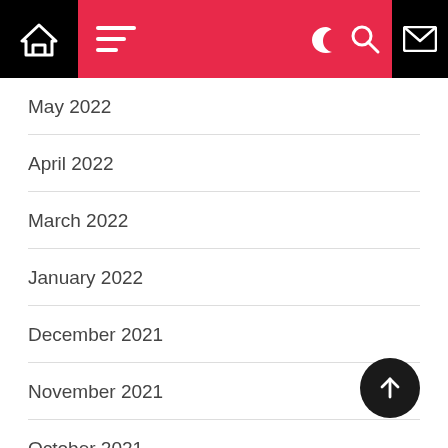Navigation header with home, menu, dark mode, search, and mail icons
May 2022
April 2022
March 2022
January 2022
December 2021
November 2021
October 2021
Categories
Art and Design